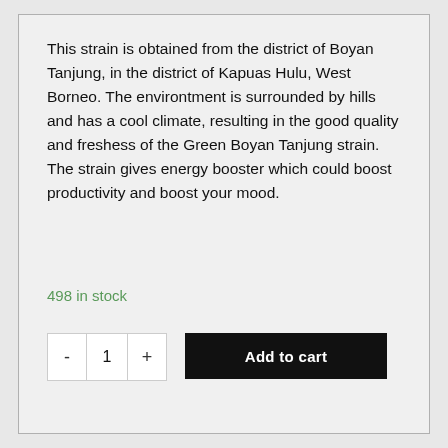This strain is obtained from the district of Boyan Tanjung, in the district of Kapuas Hulu, West Borneo. The environtment is surrounded by hills and has a cool climate, resulting in the good quality and freshess of the Green Boyan Tanjung strain. The strain gives energy booster which could boost productivity and boost your mood.
498 in stock